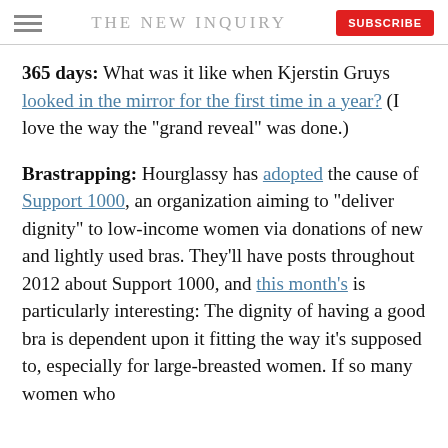THE NEW INQUIRY
365 days: What was it like when Kjerstin Gruys looked in the mirror for the first time in a year? (I love the way the "grand reveal" was done.)
Brastrapping: Hourglassy has adopted the cause of Support 1000, an organization aiming to "deliver dignity" to low-income women via donations of new and lightly used bras. They'll have posts throughout 2012 about Support 1000, and this month's is particularly interesting: The dignity of having a good bra is dependent upon it fitting the way it's supposed to, especially for large-breasted women. If so many women who